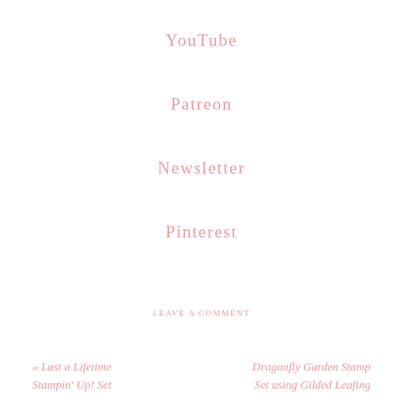YouTube
Patreon
Newsletter
Pinterest
LEAVE A COMMENT
« Last a Lifetime Stampin' Up! Set
Dragonfly Garden Stamp Set using Gilded Leafing